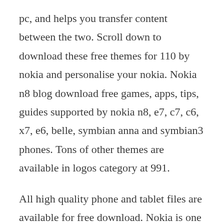pc, and helps you transfer content between the two. Scroll down to download these free themes for 110 by nokia and personalise your nokia. Nokia n8 blog download free games, apps, tips, guides supported by nokia n8, e7, c7, c6, x7, e6, belle, symbian anna and symbian3 phones. Tons of other themes are available in logos category at 991.
All high quality phone and tablet files are available for free download. Nokia is one of the popular phone brands we have thousands of cool original screensavers. New nokia n8